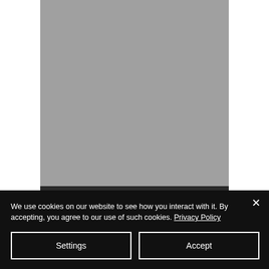[Figure (photo): Gray placeholder photo area, partially visible at top of page]
Cell: 082 690 8890 (Daphne)
We use cookies on our website to see how you interact with it. By accepting, you agree to our use of such cookies. Privacy Policy
Settings
Accept